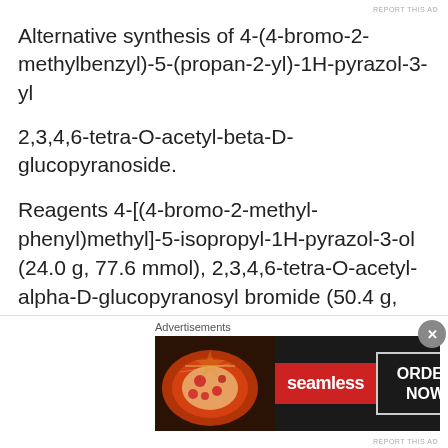REPORT THIS AD
Alternative synthesis of 4-(4-bromo-2-methylbenzyl)-5-(propan-2-yl)-1H-pyrazol-3-yl
2,3,4,6-tetra-O-acetyl-beta-D-glucopyranoside.
Reagents 4-[(4-bromo-2-methyl-phenyl)methyl]-5-isopropyl-1H-pyrazol-3-ol (24.0 g, 77.6 mmol), 2,3,4,6-tetra-O-acetyl-alpha-D-glucopyranosyl bromide (50.4 g, 116 mmol), benzyltributylammonium chloride (4.94 g, 15.52 mmol), potassium carbonate
(32.18 g, 232.9 mmol), dichloromethane (250 mL) and water (120 mL) are combined and the mixture is stirred at
Advertisements
[Figure (photo): Advertisement banner for Seamless food delivery service with pizza image, red Seamless logo, and ORDER NOW button]